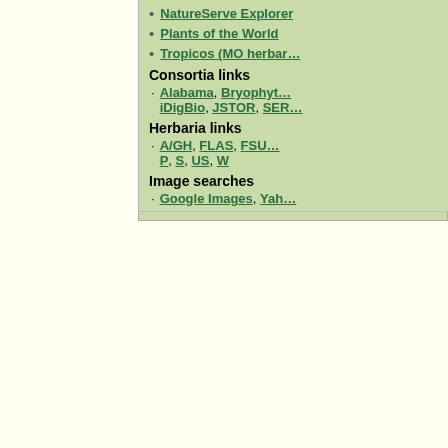NatureServe Explorer
Plants of the World
Tropicos (MO herbar…
Consortia links
Alabama, Bryophyt… iDigBio, JSTOR, SER…
Herbaria links
A/GH, FLAS, FSU… P, S, US, W
Image searches
Google Images, Yah…
Source
| County | Herbaria | Literature Citation (If Applicable) |
| --- | --- | --- |
| Jackson | USF |  |
Synonyms
– Denotes synonyms that are applicable to the state. Show these synonyms only
| Synonym | Full Citation | Basionym | Type |
| --- | --- | --- | --- |
| Ligusticum barbinode | Ligusticum barbinode Michaux, Fl. Bor.-Amer. |  | TYPE: NO… |